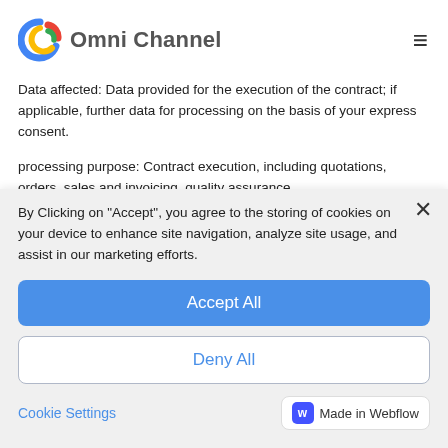Omni Channel
Data affected: Data provided for the execution of the contract; if applicable, further data for processing on the basis of your express consent.
processing purpose: Contract execution, including quotations, orders, sales and invoicing, quality assurance.
Categories of recipients: Public authorities in the case of
By Clicking on "Accept", you agree to the storing of cookies on your device to enhance site navigation, analyze site usage, and assist in our marketing efforts.
Accept All
Deny All
Cookie Settings
Made in Webflow